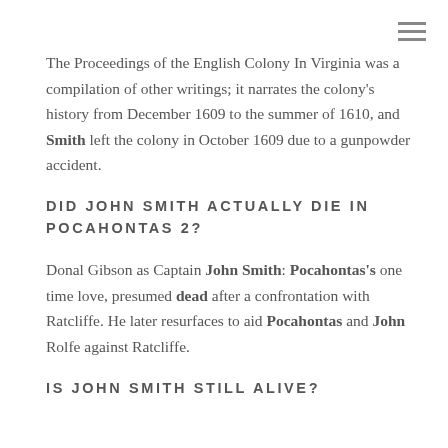The Proceedings of the English Colony In Virginia was a compilation of other writings; it narrates the colony's history from December 1609 to the summer of 1610, and Smith left the colony in October 1609 due to a gunpowder accident.
DID JOHN SMITH ACTUALLY DIE IN POCAHONTAS 2?
Donal Gibson as Captain John Smith: Pocahontas's one time love, presumed dead after a confrontation with Ratcliffe. He later resurfaces to aid Pocahontas and John Rolfe against Ratcliffe.
IS JOHN SMITH STILL ALIVE?